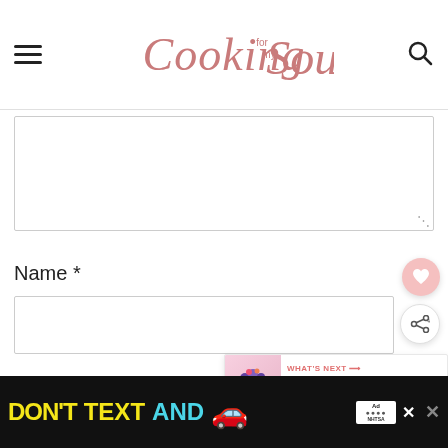Cooking for my Soul
[Figure (screenshot): Comment textarea input box, empty]
Name *
[Figure (screenshot): Name text input field, empty]
[Figure (screenshot): Floating heart button and share button on the right side]
[Figure (screenshot): What's Next banner: Mixed Berry Smoothie wi...]
Email *
[Figure (screenshot): Email text input field, partially visible]
[Figure (screenshot): Ad banner: DON'T TEXT AND [car emoji] with NHTSA ad badge and close button]